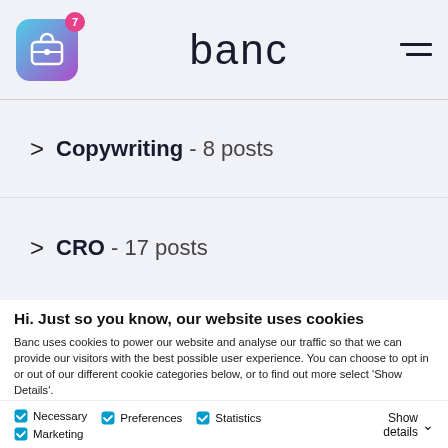[Figure (logo): App icon with briefcase/bag symbol, gradient teal to purple, with badge showing 7]
banc
[Figure (other): Hamburger menu icon (two horizontal lines)]
Copywriting - 8 posts
CRO - 17 posts
Hi. Just so you know, our website uses cookies
Banc uses cookies to power our website and analyse our traffic so that we can provide our visitors with the best possible user experience. You can choose to opt in or out of our different cookie categories below, or to find out more select 'Show Details'.
OK
Necessary   Preferences   Statistics   Show details
Marketing